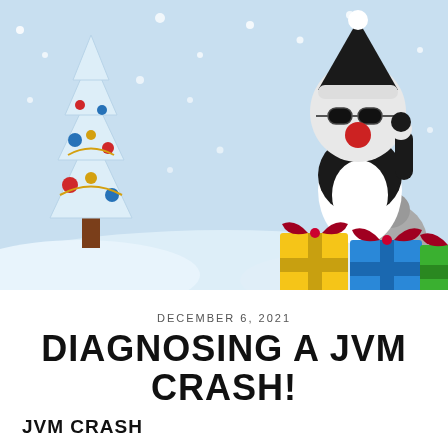[Figure (illustration): Holiday-themed illustration with a light blue snowy background. On the left is a white Christmas tree decorated with red, blue, and gold ornaments. On the right is a cartoon Java mascot (Duke) dressed as Santa Claus wearing sunglasses and a red nose, carrying a sack. In the lower right are three wrapped gift boxes: yellow, blue, and green, each with a dark red ribbon and bow. Snowflakes are scattered across the scene.]
DECEMBER 6, 2021
DIAGNOSING A JVM CRASH!
JVM CRASH